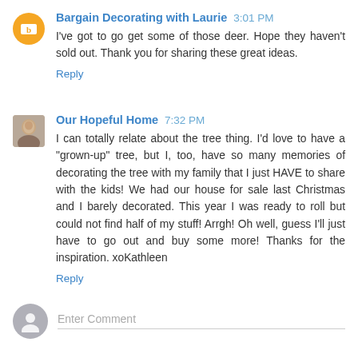Bargain Decorating with Laurie 3:01 PM
I've got to go get some of those deer. Hope they haven't sold out. Thank you for sharing these great ideas.
Reply
Our Hopeful Home 7:32 PM
I can totally relate about the tree thing. I'd love to have a "grown-up" tree, but I, too, have so many memories of decorating the tree with my family that I just HAVE to share with the kids! We had our house for sale last Christmas and I barely decorated. This year I was ready to roll but could not find half of my stuff! Arrgh! Oh well, guess I'll just have to go out and buy some more! Thanks for the inspiration. xoKathleen
Reply
Enter Comment